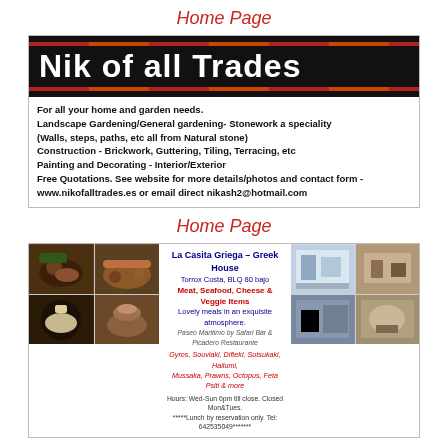Home Page
[Figure (photo): Dark banner sign reading 'Nik of all Trades' in white bold text on black background with red stripe accents]
For all your home and garden needs.
Landscape Gardening/General gardening- Stonework a speciality
(Walls, steps, paths, etc all from Natural stone)
Construction - Brickwork, Guttering, Tiling, Terracing, etc
Painting and Decorating - Interior/Exterior
Free Quotations. See website for more details/photos and contact form -
www.nikofalltrades.es or email direct nikash2@hotmail.com
Home Page
[Figure (photo): Advertisement for La Casita Griega - Greek House restaurant with food photos on left and restaurant interior photos on right, text in center with menu details and contact information]